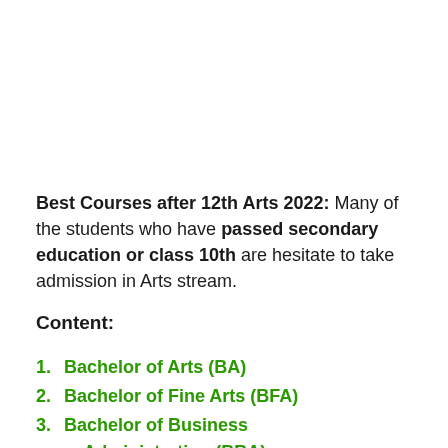Best Courses after 12th Arts 2022: Many of the students who have passed secondary education or class 10th are hesitate to take admission in Arts stream.
Content:
Bachelor of Arts (BA)
Bachelor of Fine Arts (BFA)
Bachelor of Business Administration (BBA)